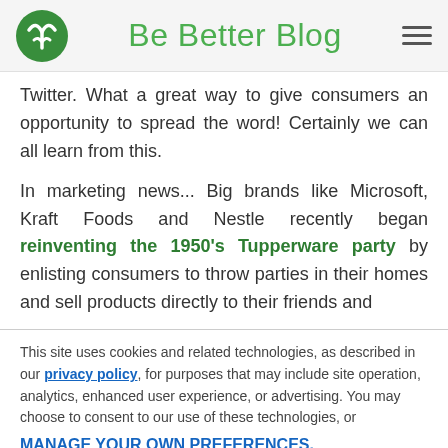Be Better Blog
Twitter. What a great way to give consumers an opportunity to spread the word! Certainly we can all learn from this.
In marketing news... Big brands like Microsoft, Kraft Foods and Nestle recently began reinventing the 1950's Tupperware party by enlisting consumers to throw parties in their homes and sell products directly to their friends and
This site uses cookies and related technologies, as described in our privacy policy, for purposes that may include site operation, analytics, enhanced user experience, or advertising. You may choose to consent to our use of these technologies, or MANAGE YOUR OWN PREFERENCES.